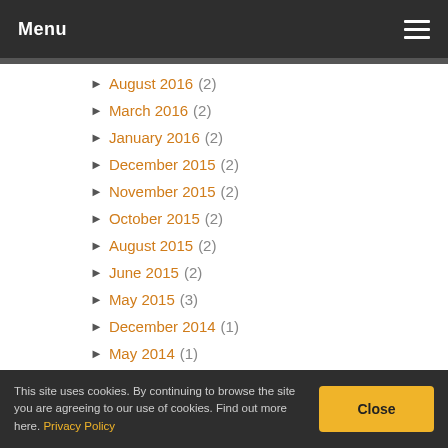Menu
August 2016 (2)
March 2016 (2)
January 2016 (2)
December 2015 (2)
November 2015 (2)
October 2015 (2)
August 2015 (2)
June 2015 (2)
May 2015 (3)
December 2014 (1)
May 2014 (1)
This site uses cookies. By continuing to browse the site you are agreeing to our use of cookies. Find out more here. Privacy Policy